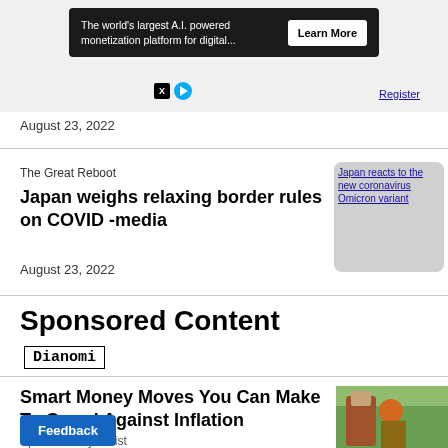[Figure (screenshot): Advertisement banner: 'The world's largest A.I. powered monetization platform for digital...' with Learn More button, X and play icons below]
August 23, 2022
The Great Reboot
Japan weighs relaxing border rules on COVID -media
August 23, 2022
[Figure (screenshot): Image placeholder with text link: Japan reacts to the new coronavirus Omicron variant]
Sponsored Content
Dianomi
Smart Money Moves You Can Make To Guard Against Inflation
Sponsored by Truist
[Figure (photo): Person looking at flowers/plants in a store]
Feedback